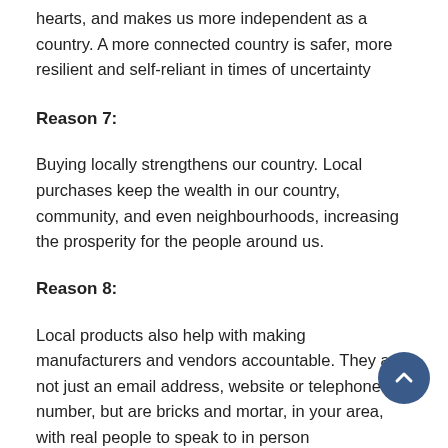hearts, and makes us more independent as a country. A more connected country is safer, more resilient and self-reliant in times of uncertainty
Reason 7:
Buying locally strengthens our country. Local purchases keep the wealth in our country, community, and even neighbourhoods, increasing the prosperity for the people around us.
Reason 8:
Local products also help with making manufacturers and vendors accountable. They are not just an email address, website or telephone number, but are bricks and mortar, in your area, with real people to speak to in person